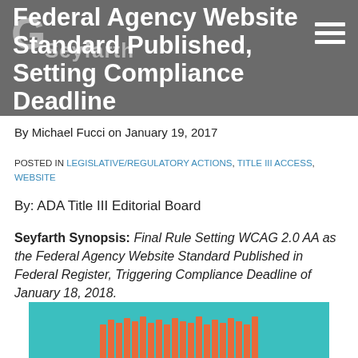Seyfarth
Federal Agency Website Standard Published, Setting Compliance Deadline
By Michael Fucci on January 19, 2017
POSTED IN LEGISLATIVE/REGULATORY ACTIONS, TITLE III ACCESS, WEBSITE
By: ADA Title III Editorial Board
Seyfarth Synopsis: Final Rule Setting WCAG 2.0 AA as the Federal Agency Website Standard Published in Federal Register, Triggering Compliance Deadline of January 18, 2018.
[Figure (illustration): Teal/turquoise background with orange fence-like vertical posts pattern at the bottom]